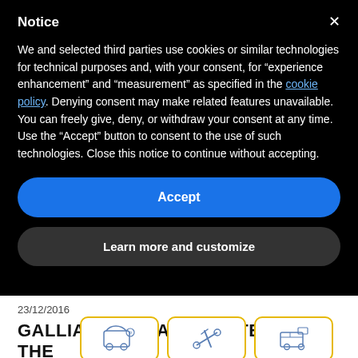Notice
We and selected third parties use cookies or similar technologies for technical purposes and, with your consent, for “experience enhancement” and “measurement” as specified in the cookie policy. Denying consent may make related features unavailable.
You can freely give, deny, or withdraw your consent at any time.
Use the “Accept” button to consent to the use of such technologies. Close this notice to continue without accepting.
Accept
Learn more and customize
23/12/2016
GALLIANO DI MARCO ATTENDED THE CHRISTMAS N H TIAN NUOVA C